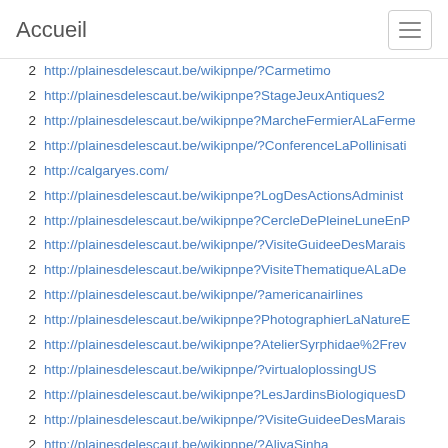Accueil
2  http://plainesdelescaut.be/wikipnpe/?Carmetimo
2  http://plainesdelescaut.be/wikipnpe?StageJeuxAntiques2
2  http://plainesdelescaut.be/wikipnpe?MarcheFermierALaFerme
2  http://plainesdelescaut.be/wikipnpe/?ConferenceLaPollinisati
2  http://calgaryes.com/
2  http://plainesdelescaut.be/wikipnpe?LogDesActionsAdminist
2  http://plainesdelescaut.be/wikipnpe?CercleDePleineLuneEnP
2  http://plainesdelescaut.be/wikipnpe/?VisiteGuideeDesMarais
2  http://plainesdelescaut.be/wikipnpe?VisiteThematiqueALaDe
2  http://plainesdelescaut.be/wikipnpe/?americanairlines
2  http://plainesdelescaut.be/wikipnpe?PhotographierLaNatureE
2  http://plainesdelescaut.be/wikipnpe?AtelierSyrphidae%2Frev
2  http://plainesdelescaut.be/wikipnpe/?virtualoplossingUS
2  http://plainesdelescaut.be/wikipnpe?LesJardinsBiologiquesD
2  http://plainesdelescaut.be/wikipnpe/?VisiteGuideeDesMarais
2  http://plainesdelescaut.be/wikipnpe/?AliyaSinha
2  http://plainesdelescaut.be/wikipnpe?VisiteGuideeDesMaraisD
2  http://plainesdelescaut.be/wikipnpe?Briamstauffer
2  http://plainesdelescaut.be/wikipnpe?actionlinkwireless
2  http://plainesdelescaut.be/wikipnpe?FooT%2Freferrers_sites